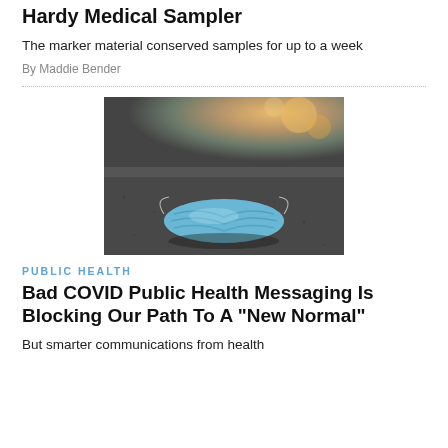Hardy Medical Sampler
The marker material conserved samples for up to a week
By Maddie Bender
[Figure (photo): A discarded blue surgical face mask lying on dark asphalt pavement, photographed from a low angle with warm bokeh light in the background.]
PUBLIC HEALTH
Bad COVID Public Health Messaging Is Blocking Our Path To A "New Normal"
But smarter communications from health